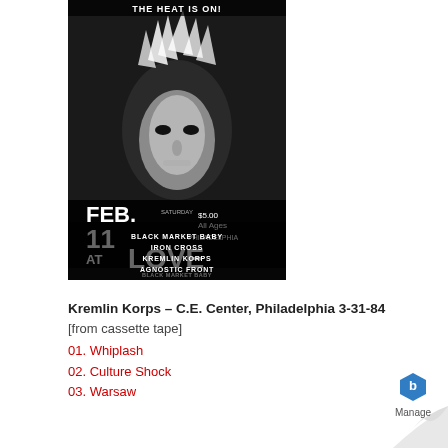[Figure (photo): Black and white concert flyer/poster for an event at LOVE venue. Shows a dramatic face with wild hair at top with text 'THE HEAT IS ON!'. Date: Saturday FEB. 11 AT LOVE. $5.00 All Ages. Philadelphia. Bands listed: BLACK MARKET BABY, IRON CROSS, KREMLIN KORPS, AGNOSTIC FRONT.]
Kremlin Korps – C.E. Center, Philadelphia 3-31-84
[from cassette tape]
01. Whiplash
02. Culture Shock
03. Warsaw